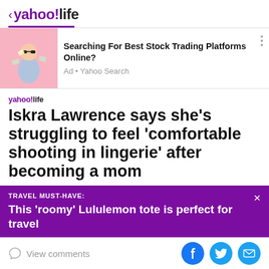< yahoo!life
[Figure (screenshot): Yahoo ad block showing a man with sunglasses throwing money on a pink background, with ad text 'Searching For Best Stock Trading Platforms Online?' and 'Ad • Yahoo Search']
yahoo!life
Iskra Lawrence says she's struggling to feel 'comfortable shooting in lingerie' after becoming a mom
TRAVEL MUST-HAVE: This 'roomy' Lululemon tote is perfect for travel
View comments